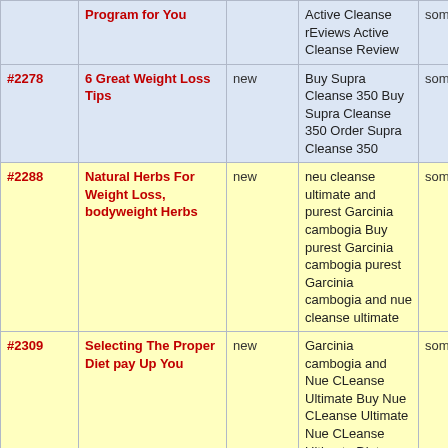| # | Title | Status | Keywords | ... |
| --- | --- | --- | --- | --- |
|  | Program for You |  | Active Cleanse rEviews Active Cleanse Review | someb |
| #2278 | 6 Great Weight Loss Tips | new | Buy Supra Cleanse 350 Buy Supra Cleanse 350 Order Supra Cleanse 350 | someb |
| #2288 | Natural Herbs For Weight Loss, bodyweight Herbs | new | neu cleanse ultimate and purest Garcinia cambogia Buy purest Garcinia cambogia purest Garcinia cambogia and nue cleanse ultimate | someb |
| #2309 | Selecting The Proper Diet pay Up You | new | Garcinia cambogia and Nue CLeanse Ultimate Buy Nue CLeanse Ultimate Nue CLeanse Ultimate Diets | someb |
| #2312 | What Is Really A Raw Food Detox Diet | new | Natural Colon Cleanse Elite and garcinia cambogia elite all natural Natural Colon Cleanse Elite Natural Colon Cleanse Elite detox diet | someb |
| #2315 | How To Take Garcinia Cambogia | new | Natural Garcinia cambogia Natural Garcinia Review natural Garcinia and Natural Green Cleanse | someb |
| #2320 | Improve The Shape Your Skin Is In | new | Nue CLeanse Ultimate Diets Nue CLeanse Ultimate and Garcinia cambogia Nue CLeanse Ultimate diet | someb |
| #2323 | Postpartum | new | Supra Cleanse 350 | someb |